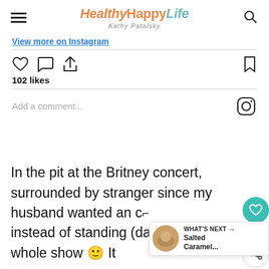HealthyHappyLife — Kathy Patalsky
View more on Instagram
102 likes
Add a comment...
In the pit at the Britney concert, surrounded by stranger since my husband wanted an [seat] instead of standing (dancing!) the whole show 🙂 It
[Figure (screenshot): What's Next widget showing Salted Caramel... with a thumbnail image]